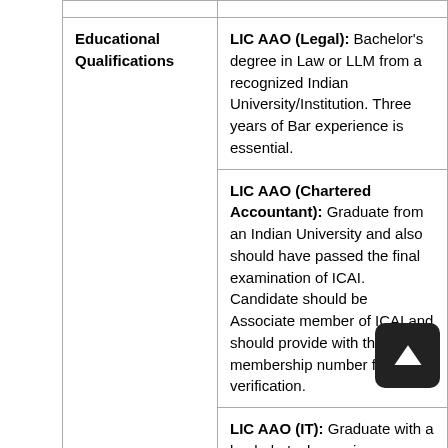| Educational Qualifications | Details |
| --- | --- |
|  |  |
| Educational Qualifications | LIC AAO (Legal): Bachelor's degree in Law or LLM from a recognized Indian University/Institution. Three years of Bar experience is essential. |
|  | LIC AAO (Chartered Accountant): Graduate from an Indian University and also should have passed the final examination of ICAI. Candidate should be Associate member of ICAI and should provide with the membership number for verification. |
|  | LIC AAO (IT): Graduate with a bachelor's degree in Engineering in CS, IT or Electronics. Candidates who have a degree in MCA or MSC (computer science) may also apply. |
|  | LIC AAO (Actuarial): Graduate from any discipline from a recognized Indian University. Candidate should have |